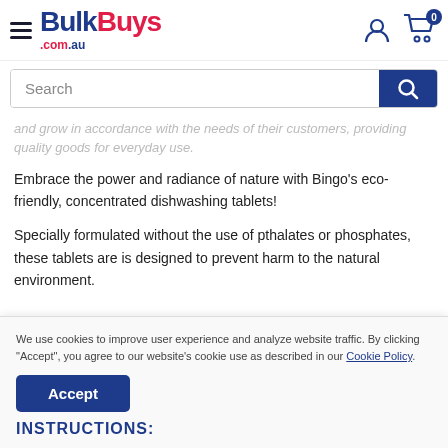BulkBuys.com.au
and grow in accordance with the needs of their customers, providing quality goods for everyday use.
Embrace the power and radiance of nature with Bingo's eco-friendly, concentrated dishwashing tablets!
Specially formulated without the use of pthalates or phosphates, these tablets are is designed to prevent harm to the natural environment.
We use cookies to improve user experience and analyze website traffic. By clicking "Accept", you agree to our website's cookie use as described in our Cookie Policy.
INSTRUCTIONS: